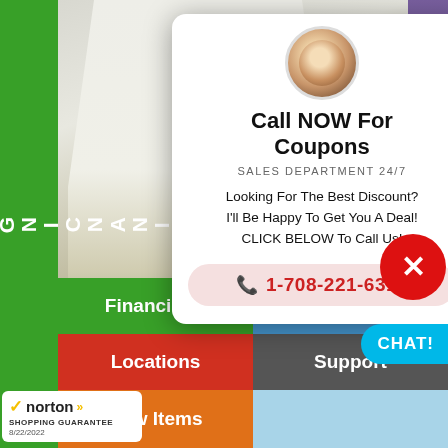[Figure (screenshot): Website screenshot showing a carport product page with a popup modal for calling for coupons, navigation buttons, and Norton Shopping Guarantee badge]
FINANCING? CLICK
White 20' x 10' Heavy Dut
LIST PRICE: $849.95
REGULAR PRICE: $659.95
Aug. 22nd 9 HR.
You save $290.00!
Purchase Your White 20' x Carport Today! Limited Quantities Available. Call 1-000-506-3991
Call NOW For Coupons
SALES DEPARTMENT 24/7
Looking For The Best Discount?
I'll Be Happy To Get You A Deal!
CLICK BELOW To Call Us!
1-708-221-6315
Financing?
Make Offer
Locations
Support
New Items
norton SHOPPING GUARANTEE 8/22/2022
CHAT!